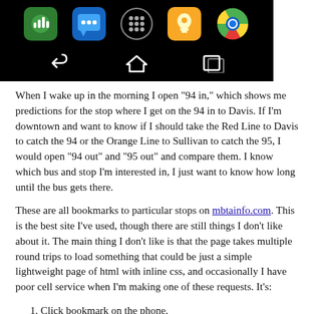[Figure (screenshot): Android phone screenshot showing app icons (Google Voice, Phone, App Drawer, Google Keep, Chrome) and navigation bar (back, home, recents) on black background]
When I wake up in the morning I open "94 in," which shows me predictions for the stop where I get on the 94 in to Davis. If I'm downtown and want to know if I should take the Red Line to Davis to catch the 94 or the Orange Line to Sullivan to catch the 95, I would open "94 out" and "95 out" and compare them. I know which bus and stop I'm interested in, I just want to know how long until the bus gets there.
These are all bookmarks to particular stops on mbtainfo.com. This is the best site I've used, though there are still things I don't like about it. The main thing I don't like is that the page takes multiple round trips to load something that could be just a simple lightweight page of html with inline css, and occasionally I have poor cell service when I'm making one of these requests. It's:
Click bookmark on the phone.
Browser makes network request for html for predictions for the chosen stop.